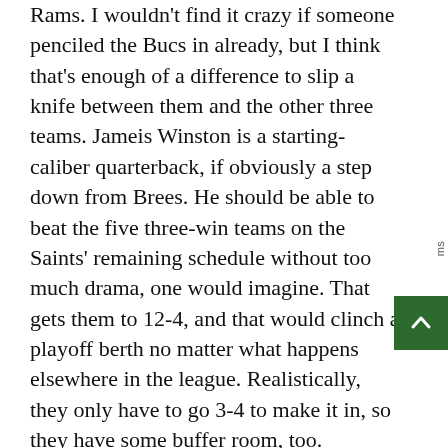Rams. I wouldn't find it crazy if someone penciled the Bucs in already, but I think that's enough of a difference to slip a knife between them and the other three teams. Jameis Winston is a starting-caliber quarterback, if obviously a step down from Brees. He should be able to beat the five three-win teams on the Saints' remaining schedule without too much drama, one would imagine. That gets them to 12-4, and that would clinch a playoff berth no matter what happens elsewhere in the league. Realistically, they only have to go 3-4 to make it in, so they have some buffer room, too.
Andrew: The other team I'd personally include is the Green Bay Packers, they of the 92.2% odds, who just saw their closest division rivals lose haplessly to another division foe on Monday night. Green Bay isn't assured of anything just yet, and the Vikings have an absurdly easy time of it between now and early December, but it's tough to see the Packers...